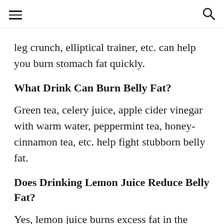leg crunch, elliptical trainer, etc. can help you burn stomach fat quickly.
What Drink Can Burn Belly Fat?
Green tea, celery juice, apple cider vinegar with warm water, peppermint tea, honey-cinnamon tea, etc. help fight stubborn belly fat.
Does Drinking Lemon Juice Reduce Belly Fat?
Yes, lemon juice burns excess fat in the abdominal area and promotes weight loss by